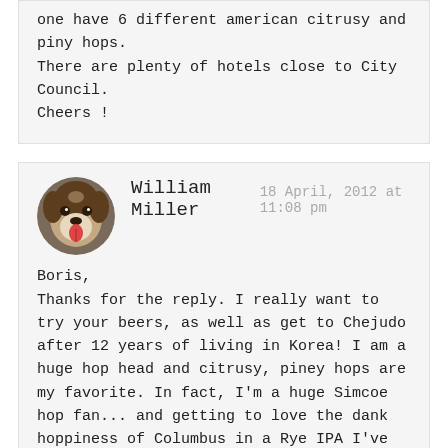one have 6 different american citrusy and piny hops.
There are plenty of hotels close to City Council.
Cheers !
William Miller
18 April, 2012 at 11:08 pm
[Figure (photo): Circular avatar photo of a dog (appears to be a Boxer or similar breed) with tongue out]
Boris,
Thanks for the reply. I really want to try your beers, as well as get to Chejudo after 12 years of living in Korea! I am a huge hop head and citrusy, piney hops are my favorite. In fact, I'm a huge Simcoe hop fan... and getting to love the dank hoppiness of Columbus in a Rye IPA I've been making.